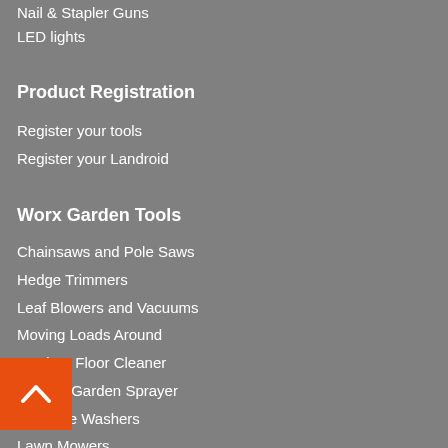Nail & Stapler Guns
LED lights
Product Registration
Register your tools
Register your Landroid
Worx Garden Tools
Chainsaws and Pole Saws
Hedge Trimmers
Leaf Blowers and Vacuums
Moving Loads Around
Outdoor Floor Cleaner
Powers Garden Sprayer
Pressure Washers
Lawn Mowers
Robotic Lawn Mowers
String Trimmers